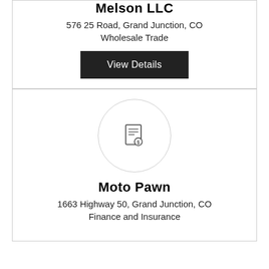Melson LLC
576 25 Road, Grand Junction, CO
Wholesale Trade
View Details
[Figure (logo): Business listing icon: document with dollar sign, inside a circle]
Moto Pawn
1663 Highway 50, Grand Junction, CO
Finance and Insurance